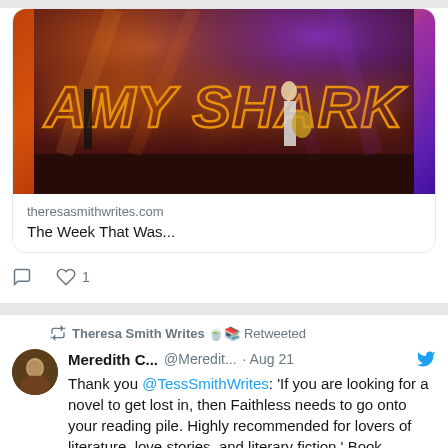[Figure (screenshot): Concert photo showing Amy Shark performing on stage with large illuminated 'AMY SHARK' lettering, orange and purple stage lighting]
theresasmithwrites.com
The Week That Was...
♡ 1
Theresa Smith Writes 🍵📚 Retweeted
Meredith C... @Meredit... · Aug 21
Thank you @TessSmithWrites: 'If you are looking for a novel to get lost in, then Faithless needs to go onto your reading pile. Highly recommended for lovers of literature, love stories, and literary fiction.' Book Review: Faithless by Alice Nelson